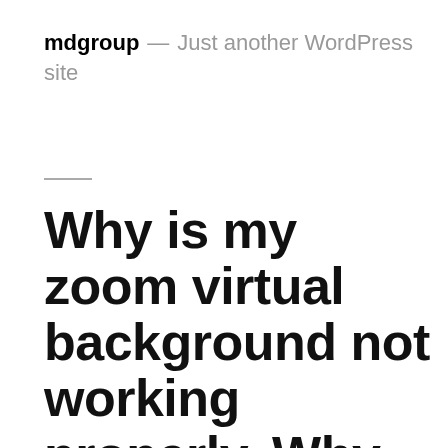mdgroup — Just another WordPress site
Why is my zoom virtual background not working properly. Why is my Zoom video backwards and how do I fix it? Also Meets and